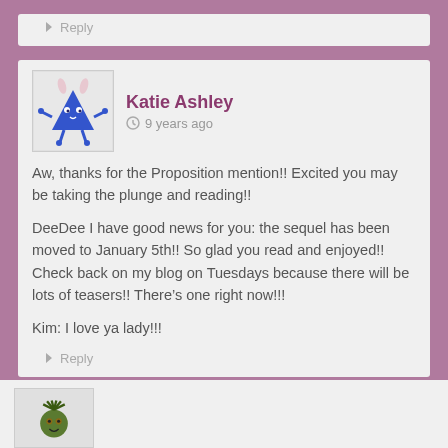Reply
Katie Ashley  9 years ago
Aw, thanks for the Proposition mention!! Excited you may be taking the plunge and reading!!

DeeDee I have good news for you: the sequel has been moved to January 5th!! So glad you read and enjoyed!! Check back on my blog on Tuesdays because there will be lots of teasers!! There's one right now!!!

Kim: I love ya lady!!!
Reply